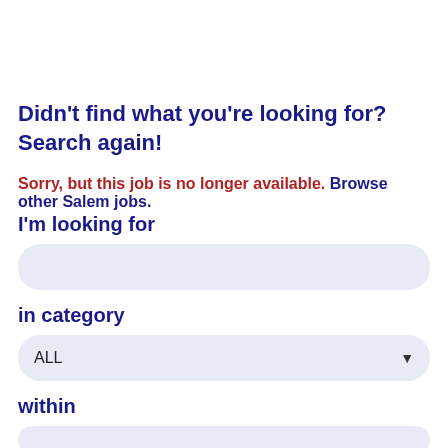Didn't find what you're looking for? Search again!
Sorry, but this job is no longer available. Browse other Salem jobs.
I'm looking for
[Figure (other): Search text input field, light blue/lavender rounded rectangle]
in category
[Figure (other): Category dropdown selector showing ALL with down arrow, light blue/lavender rounded rectangle]
within